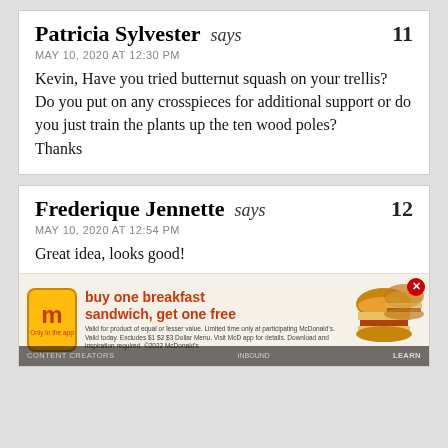Patricia Sylvester says — 11
MAY 10, 2020 AT 12:30 PM
Kevin, Have you tried butternut squash on your trellis?
Do you put on any crosspieces for additional support or do you just train the plants up the ten wood poles?
Thanks
Frederique Jennette says — 12
MAY 10, 2020 AT 12:54 PM
Great idea, looks good!
[Figure (other): McDonald's advertisement banner: buy one breakfast sandwich, get one free. Only in the app. Shows McDonald's logo, food images of breakfast sandwiches, fine print, and a LEARN button.]